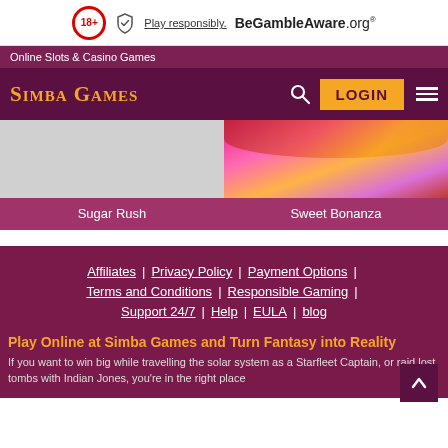18+ Play responsibly. BeGambleAware.org
Online Slots & Casino Games
Simba Games
[Figure (screenshot): Two game card thumbnails: Sugar Rush (grey placeholder) and Sweet Bonanza (colorful candy image)]
Sugar Rush
Sweet Bonanza
Affiliates | Privacy Policy | Payment Options | Terms and Conditions | Responsible Gaming | Support 24/7 | Help | EULA | blog
Play Online at Simba Games and Turn Fantasy into Reality
If you want to win big while travelling the solar system as a Starfleet Captain, or raid lost tombs with Indian Jones, you're in the right place